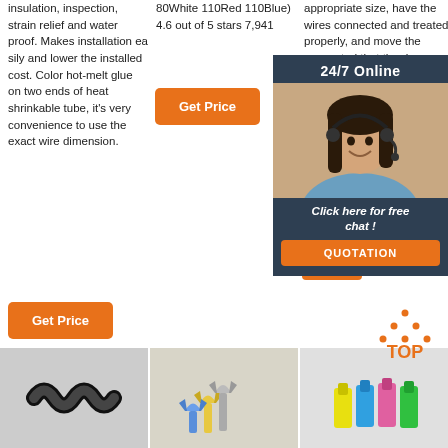insulation, inspection, strain relief and water proof. Makes installation ea sily and lower the installed cost. Color hot-melt glue on two ends of heat shrinkable tube, it's very convenience to use the exact wire dimension.
Get Price
80White 110Red 110Blue) 4.6 out of 5 stars 7,941
Get Price
appropriate size, have the wires connected and treated properly, and move the connected that the ring se aligned wire co 2.Heat
Get
[Figure (photo): Customer service representative with headset, smiling, overlaid on dark blue chat widget showing '24/7 Online', 'Click here for free chat!', and 'QUOTATION' button]
[Figure (infographic): TOP badge with orange dots arranged in triangle above orange text 'TOP']
[Figure (photo): Black corrugated flexible conduit tube]
[Figure (photo): Metal fork/spade wire terminals in yellow and blue]
[Figure (photo): Colorful heat shrink tubing connectors in yellow, blue, pink and green]